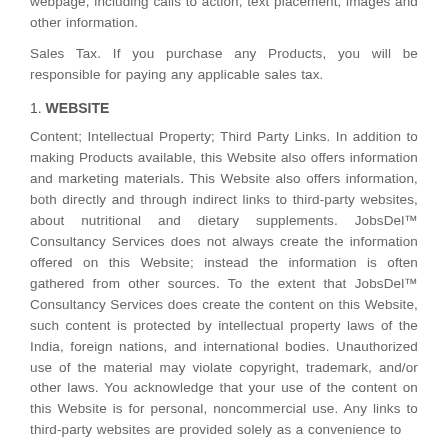webpage, including calls to action, text placement, images and other information.
Sales Tax. If you purchase any Products, you will be responsible for paying any applicable sales tax.
1. WEBSITE
Content; Intellectual Property; Third Party Links. In addition to making Products available, this Website also offers information and marketing materials. This Website also offers information, both directly and through indirect links to third-party websites, about nutritional and dietary supplements. JobsDel™ Consultancy Services does not always create the information offered on this Website; instead the information is often gathered from other sources. To the extent that JobsDel™ Consultancy Services does create the content on this Website, such content is protected by intellectual property laws of the India, foreign nations, and international bodies. Unauthorized use of the material may violate copyright, trademark, and/or other laws. You acknowledge that your use of the content on this Website is for personal, noncommercial use. Any links to third-party websites are provided solely as a convenience to JobsDel™ Consultancy Services does not endorse the